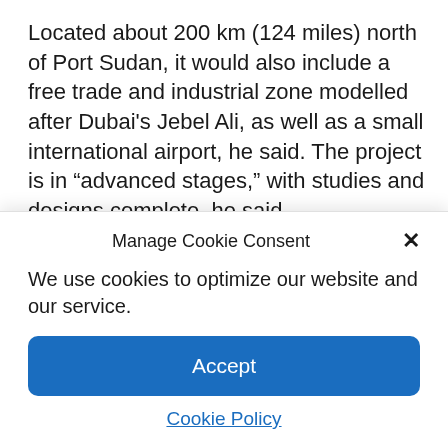Located about 200 km (124 miles) north of Port Sudan, it would also include a free trade and industrial zone modelled after Dubai's Jebel Ali, as well as a small international airport, he said. The project is in “advanced stages,” with studies and designs complete, he said.
Manage Cookie Consent
We use cookies to optimize our website and our service.
Accept
Cookie Policy